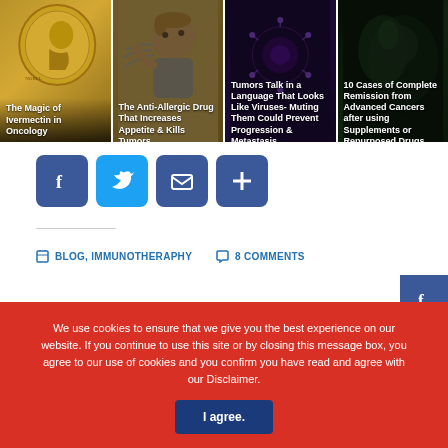[Figure (photo): Grid of four thumbnail images: (1) Gold coin/medal with face profile - The Magic of Ivermectin in Oncology; (2) Cartoon baby sneezing - The Anti-Allergic Drug That Increases Appetite & Kills Tumors; (3) Dark purple background image - Tumors Talk in a Language That Looks Like Viruses- Muting Them Could Prevent Progression & Metastasis; (4) Dark green background image - Cases of Complete Remission from Advanced Cancers after using Supplements or Repurposed Drugs]
[Figure (infographic): Social share buttons row: Facebook (blue), Twitter (blue), Email (blue), More/Plus (blue)]
BLOG, IMMUNOTHERAPHY   8 COMMENTS
[Figure (infographic): Right sidebar social icons: Facebook, Twitter, Email, Plus]
We use cookies to ensure that we give you the best experience on our website. If you continue to use this site or by closing this message box, you agree to our use of cookies and you confirm you have read and agree with our Disclaimer.
I agree.